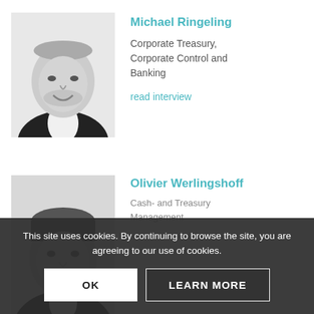[Figure (photo): Black and white headshot photo of Michael Ringeling, a bald man in a dark suit, smiling]
Michael Ringeling
Corporate Treasury, Corporate Control and Banking
read interview
[Figure (photo): Black and white headshot photo of Olivier Werlingshoff, partially visible, a man with dark hair]
Olivier Werlingshoff
Cash- and Treasury Management
This site uses cookies. By continuing to browse the site, you are agreeing to our use of cookies.
OK
LEARN MORE